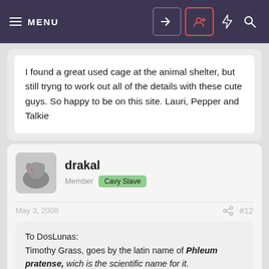MENU | Login | Register | Lightning | Search
I found a great used cage at the animal shelter, but still tryng to work out all of the details with these cute guys. So happy to be on this site. Lauri, Pepper and Talkie
drakal
Member  Cavy Slave
May 3, 2008
#12
To DosLunas:
Timothy Grass, goes by the latin name of Phleum pratense, wich is the scientific name for it.